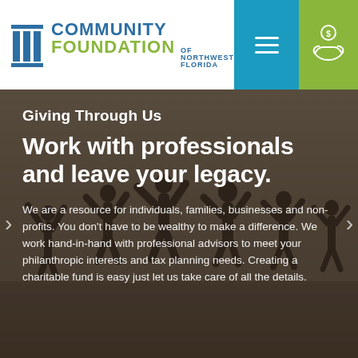[Figure (logo): Community Foundation of Northwest Florida logo with pillar icon in teal/blue and green text]
[Figure (screenshot): Navigation header with hamburger menu icon on teal background and donate icon on green background]
[Figure (photo): Silhouetted group of people jumping with arms raised, dark warm-toned background]
Giving Through Us
Work with professionals and leave your legacy.
We are a resource for individuals, families, businesses and non-profits. You don't have to be wealthy to make a difference. We work hand-in-hand with professional advisors to meet your philanthropic interests and tax planning needs. Creating a charitable fund is easy just let us take care of all the details.